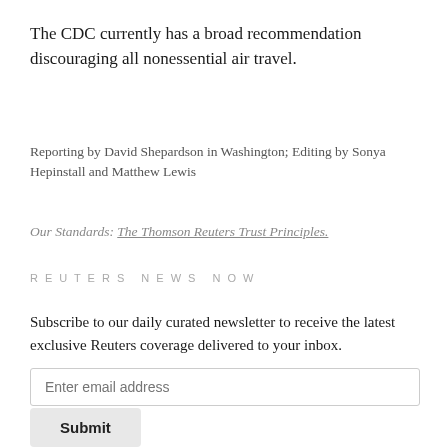The CDC currently has a broad recommendation discouraging all nonessential air travel.
Reporting by David Shepardson in Washington; Editing by Sonya Hepinstall and Matthew Lewis
Our Standards: The Thomson Reuters Trust Principles.
REUTERS NEWS NOW
Subscribe to our daily curated newsletter to receive the latest exclusive Reuters coverage delivered to your inbox.
Enter email address
Submit